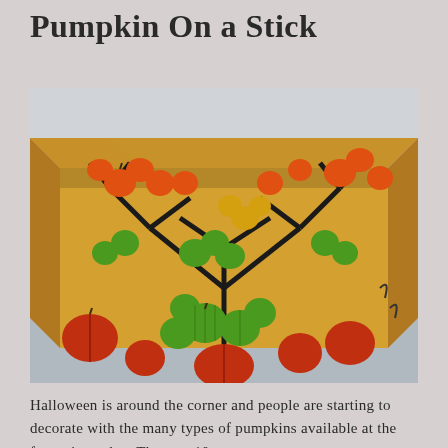Pumpkin On a Stick
[Figure (photo): A cardboard box filled with Pumpkin on a Stick plant stems bearing small orange, green, and yellow pumpkin-shaped fruits on dark branching stems.]
Halloween is around the corner and people are starting to decorate with the many types of pumpkins available at the farmer's market. The past 10 years